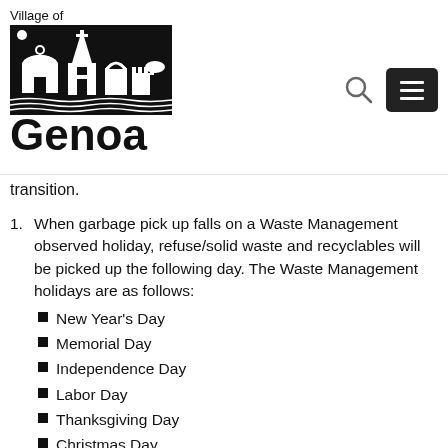Village of Genoa
transition.
When garbage pick up falls on a Waste Management observed holiday, refuse/solid waste and recyclables will be picked up the following day. The Waste Management holidays are as follows:
New Year's Day
Memorial Day
Independence Day
Labor Day
Thanksgiving Day
Christmas Day